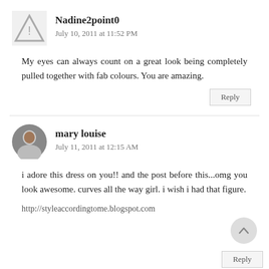[Figure (illustration): Grey triangle warning/avatar placeholder icon for Nadine2point0]
Nadine2point0
July 10, 2011 at 11:52 PM
My eyes can always count on a great look being completely pulled together with fab colours. You are amazing.
Reply
[Figure (photo): Circular avatar photo of mary louise]
mary louise
July 11, 2011 at 12:15 AM
i adore this dress on you!! and the post before this...omg you look awesome. curves all the way girl. i wish i had that figure.
http://styleaccordingtome.blogspot.com
Reply